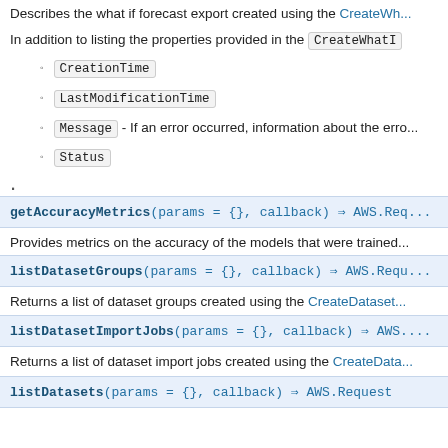Describes the what if forecast export created using the CreateWhatI...
In addition to listing the properties provided in the CreateWhatI...
CreationTime
LastModificationTime
Message - If an error occurred, information about the erro...
Status
.
getAccuracyMetrics(params = {}, callback) ⇒ AWS.Req...
Provides metrics on the accuracy of the models that were trained...
listDatasetGroups(params = {}, callback) ⇒ AWS.Requ...
Returns a list of dataset groups created using the CreateDataset...
listDatasetImportJobs(params = {}, callback) ⇒ AWS....
Returns a list of dataset import jobs created using the CreateData...
listDatasets(params = {}, callback) ⇒ AWS.Request